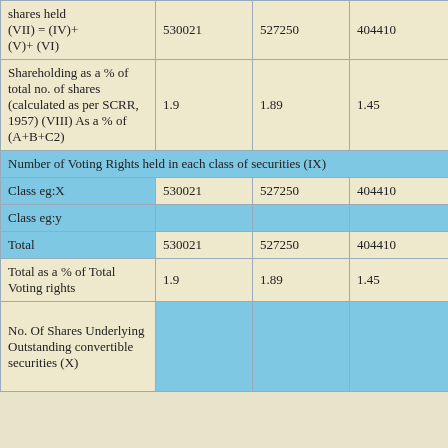| shares held (VII) = (IV)+ (V)+ (VI) | 530021 | 527250 | 404410 |
| Shareholding as a % of total no. of shares (calculated as per SCRR, 1957) (VIII) As a % of (A+B+C2) | 1.9 | 1.89 | 1.45 |
| Number of Voting Rights held in each class of securities (IX) |  |  |  |
| Class eg:X | 530021 | 527250 | 404410 |
| Class eg:y |  |  |  |
| Total | 530021 | 527250 | 404410 |
| Total as a % of Total Voting rights | 1.9 | 1.89 | 1.45 |
| No. Of Shares Underlying Outstanding convertible securities (X) |  |  |  |